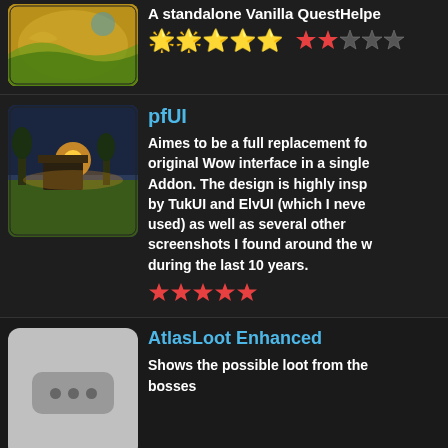[Figure (screenshot): Map thumbnail for a standalone Vanilla QuestHelper addon]
A standalone Vanilla QuestHelper
★★☆☆☆ (2 out of 5 red stars)
pfUI
[Figure (screenshot): Scene thumbnail showing a sunset landscape with buildings for pfUI addon]
Aimes to be a full replacement fo original Wow interface in a single Addon. The design is highly insp by TukUI and ElvUI (which I neve used) as well as several other screenshots I found around the w during the last 10 years.
★★★★★ (5 out of 5 red stars)
AtlasLoot Enhanced
[Figure (screenshot): Placeholder thumbnail with three dots for AtlasLoot Enhanced addon]
Shows the possible loot from the bosses
★★☆☆☆ (2.5 out of 5 red stars)
Bagnon